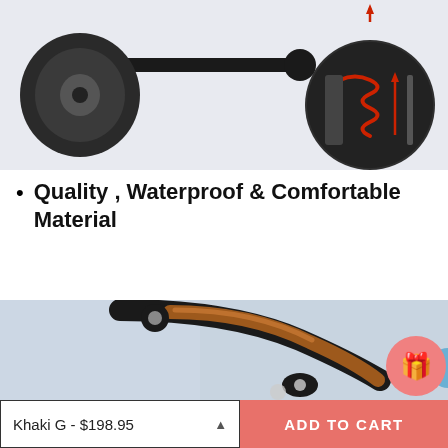[Figure (photo): Close-up photo of scooter/stroller wheels and axle mechanism on a light gray background, with a circular inset showing a red spring shock absorber detail with a red arrow indicating movement.]
Quality , Waterproof & Comfortable Material
[Figure (photo): Close-up photo of a stroller handle with brown/tan leather grip and black hardware, against a light blue fabric background. A pink circular gift button icon is visible in the bottom right.]
Khaki G - $198.95
ADD TO CART